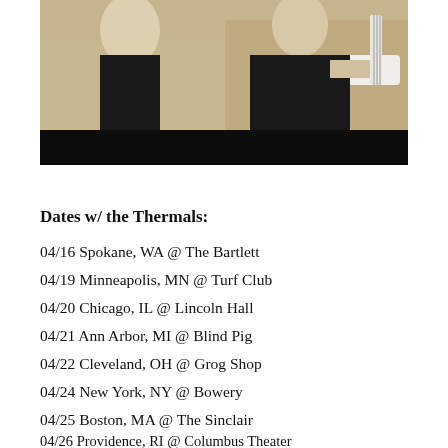[Figure (photo): Band photo showing two musicians, one holding a white guitar, against a light background with a black bar at the bottom]
Dates w/ the Thermals:
04/16 Spokane, WA @ The Bartlett
04/19 Minneapolis, MN @ Turf Club
04/20 Chicago, IL @ Lincoln Hall
04/21 Ann Arbor, MI @ Blind Pig
04/22 Cleveland, OH @ Grog Shop
04/24 New York, NY @ Bowery
04/25 Boston, MA @ The Sinclair
04/26 Providence, RI @ Columbus Theater